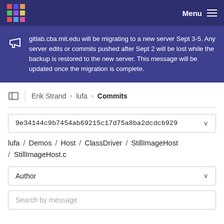Menu
gitlab.cba.mit.edu will be migrating to a new server Sept 3-5. Any server edits or commits pushed after Sept 2 will be lost while the backup is restored to the new server. This message will be updated once the migration is complete.
Erik Strand › lufa › Commits
9e34144c9b7454ab69215c17d75a8ba2dcdcb929
lufa / Demos / Host / ClassDriver / StillImageHost / StillImageHost.c
Author
Search by message